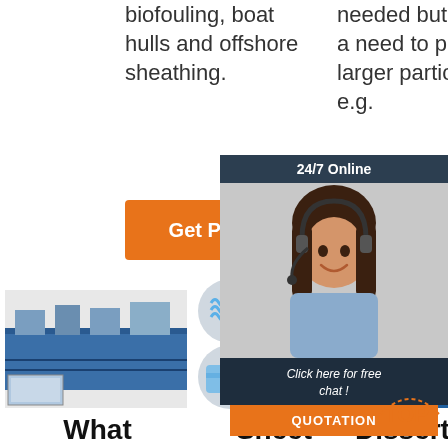biofouling, boat hulls and offshore sheathing.
needed but there is a need to prevent larger particles from... e.g.
[Figure (other): Orange 'Get Price' button]
[Figure (other): Orange 'Ge' button (partially visible)]
[Figure (other): Chat popup overlay with agent photo, '24/7 Online' header, 'Click here for free chat!' text and QUOTATION button]
[Figure (photo): Industrial manufacturing line photo on left]
[Figure (photo): Grid of 4 circular product images showing corrugated/flat plastic sheet products]
[Figure (photo): Blue industrial machinery photo on right, partially obscured by chat popup]
What
Sheet
Dissertation